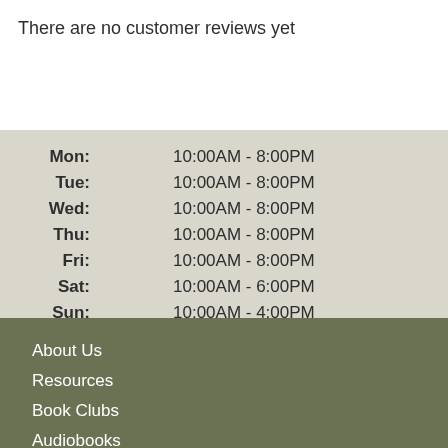There are no customer reviews yet
| Day | Hours |
| --- | --- |
| Mon: | 10:00AM - 8:00PM |
| Tue: | 10:00AM - 8:00PM |
| Wed: | 10:00AM - 8:00PM |
| Thu: | 10:00AM - 8:00PM |
| Fri: | 10:00AM - 8:00PM |
| Sat: | 10:00AM - 6:00PM |
| Sun: | 10:00AM - 4:00PM |
About Us
Resources
Book Clubs
Audiobooks